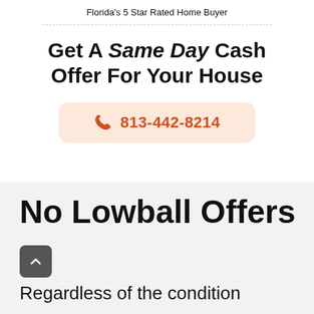Florida's 5 Star Rated Home Buyer
Get A Same Day Cash Offer For Your House
813-442-8214
No Lowball Offers
Regardless of the condition